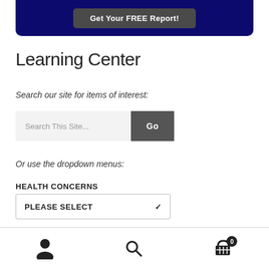[Figure (screenshot): Dark navy blue banner with a grey button labeled 'Get Your FREE Report!']
Learning Center
Search our site for items of interest:
Search This Site...  Go
Or use the dropdown menus:
HEALTH CONCERNS
PLEASE SELECT
User icon, Search icon, Cart icon with badge 0